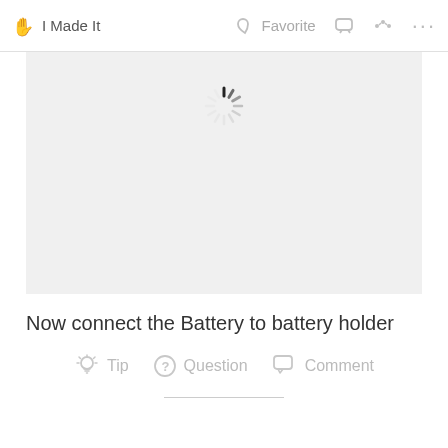I Made It   Favorite
[Figure (screenshot): Gray content area with a loading spinner (circular dashed spinner) centered near the top of the box]
Now connect the Battery to battery holder
Tip   Question   Comment